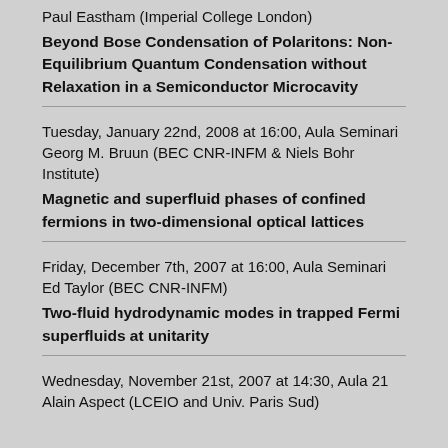Paul Eastham (Imperial College London)
Beyond Bose Condensation of Polaritons: Non-Equilibrium Quantum Condensation without Relaxation in a Semiconductor Microcavity
Tuesday, January 22nd, 2008 at 16:00, Aula Seminari
Georg M. Bruun (BEC CNR-INFM & Niels Bohr Institute)
Magnetic and superfluid phases of confined fermions in two-dimensional optical lattices
Friday, December 7th, 2007 at 16:00, Aula Seminari
Ed Taylor (BEC CNR-INFM)
Two-fluid hydrodynamic modes in trapped Fermi superfluids at unitarity
Wednesday, November 21st, 2007 at 14:30, Aula 21
Alain Aspect (LCEIO and Univ. Paris Sud)